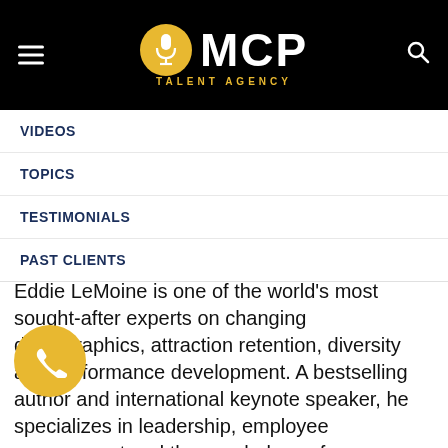[Figure (logo): MCP Talent Agency logo with golden microphone icon on black background]
VIDEOS
TOPICS
TESTIMONIALS
PAST CLIENTS
Eddie LeMoine is one of the world's most sought-after experts on changing demographics, attraction retention, diversity and performance development. A bestselling author and international keynote speaker, he specializes in leadership, employee engagement and the psychology of success.